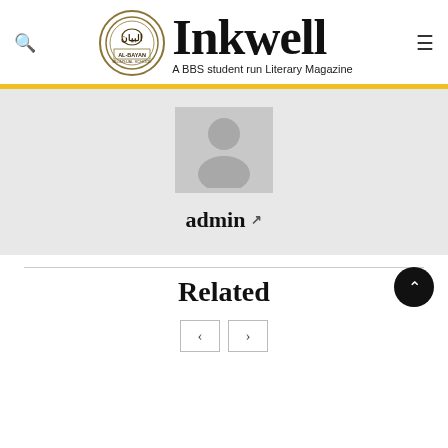Inkwell — A BBS student run Literary Magazine
[Figure (photo): Default user avatar (gray silhouette of a person on gray background)]
admin ↗
Related